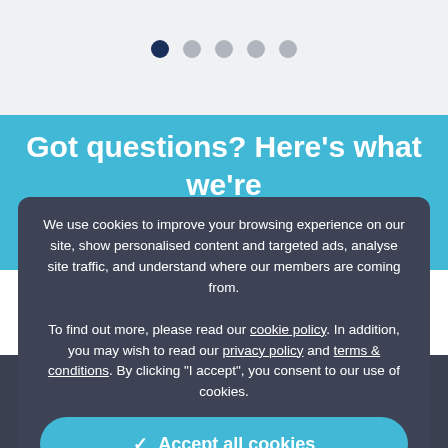[Figure (other): Pagination dots row — one dark blue filled dot followed by four gray filled dots]
Got questions? Here's what we're asked most
We use cookies to improve your browsing experience on our site, show personalised content and targeted ads, analyse site traffic, and understand where our members are coming from.

To find out more, please read our cookie policy. In addition, you may wish to read our privacy policy and terms & conditions. By clicking "I accept", you consent to our use of cookies.
✓  Accept all cookies
⚙  Manage settings